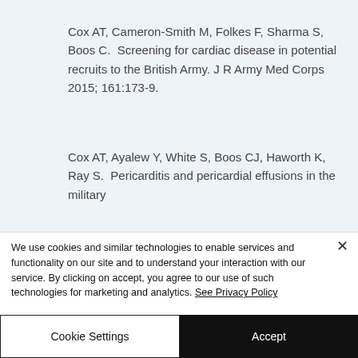Cox AT, Cameron-Smith M, Folkes F, Sharma S, Boos C.  Screening for cardiac disease in potential recruits to the British Army. J R Army Med Corps 2015; 161:173-9.
Cox AT, Ayalew Y, White S, Boos CJ, Haworth K, Ray S.  Pericarditis and pericardial effusions in the military
We use cookies and similar technologies to enable services and functionality on our site and to understand your interaction with our service. By clicking on accept, you agree to our use of such technologies for marketing and analytics. See Privacy Policy